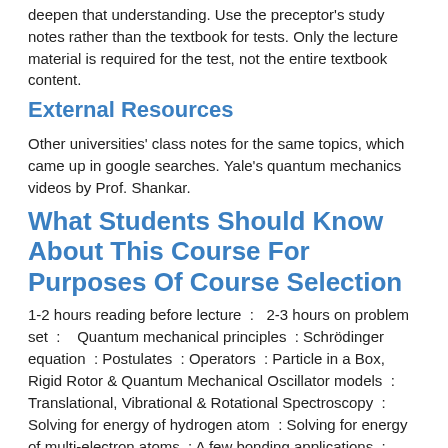deepen that understanding. Use the preceptor's study notes rather than the textbook for tests. Only the lecture material is required for the test, not the entire textbook content.
External Resources
Other universities' class notes for the same topics, which came up in google searches. Yale's quantum mechanics videos by Prof. Shankar.
What Students Should Know About This Course For Purposes Of Course Selection
1-2 hours reading before lecture  :  2-3 hours on problem set  :   Quantum mechanical principles  : Schrödinger equation  : Postulates  : Operators  : Particle in a Box, Rigid Rotor & Quantum Mechanical Oscillator models  : Translational, Vibrational & Rotational Spectroscopy  : Solving for energy of hydrogen atom  : Solving for energy of multi-electron atoms  : A few bonding applications  :  Any